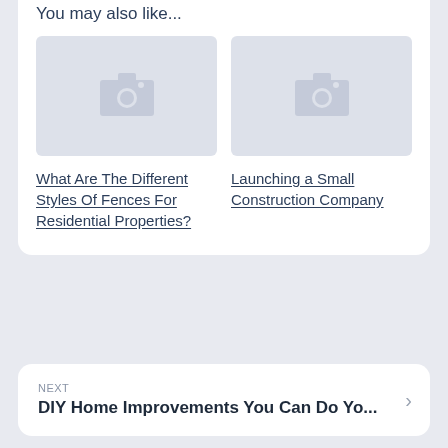You may also like...
[Figure (photo): Placeholder camera icon image for article about fence styles]
[Figure (photo): Placeholder camera icon image for article about launching a small construction company]
What Are The Different Styles Of Fences For Residential Properties?
Launching a Small Construction Company
NEXT
DIY Home Improvements You Can Do Yo...